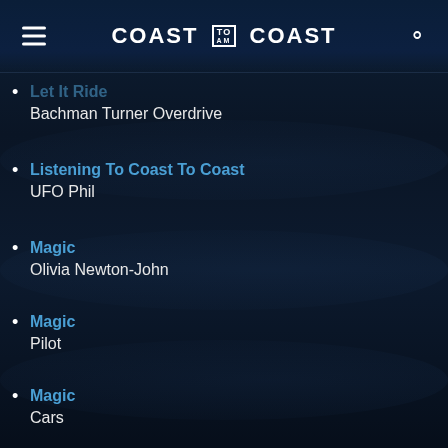COAST TO COAST AM
Let It Ride
Bachman Turner Overdrive
Listening To Coast To Coast
UFO Phil
Magic
Olivia Newton-John
Magic
Pilot
Magic
Cars
Midnight Express (The Chase)